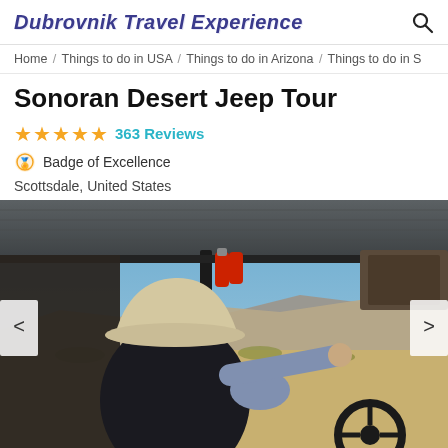Dubrovnik Travel Experience
Home / Things to do in USA / Things to do in Arizona / Things to do in S
Sonoran Desert Jeep Tour
★★★★★ 363 Reviews
🏅 Badge of Excellence
Scottsdale, United States
[Figure (photo): Interior view of a jeep with a driver wearing a white cowboy hat, pointing toward a desert landscape with rocky hills and sparse vegetation under a clear blue sky.]